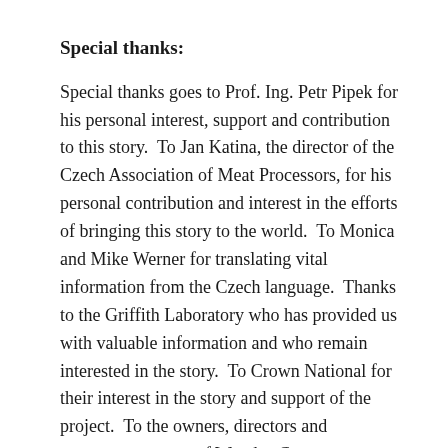Special thanks:
Special thanks goes to Prof. Ing. Petr Pipek for his personal interest, support and contribution to this story.  To Jan Katina, the director of the Czech Association of Meat Processors, for his personal contribution and interest in the efforts of bringing this story to the world.  To Monica and Mike Werner for translating vital information from the Czech language.  Thanks to the Griffith Laboratory who has provided us with valuable information and who remain interested in the story.  To Crown National for their interest in the story and support of the project.  To the owners, directors and management team of Woodys Consumer